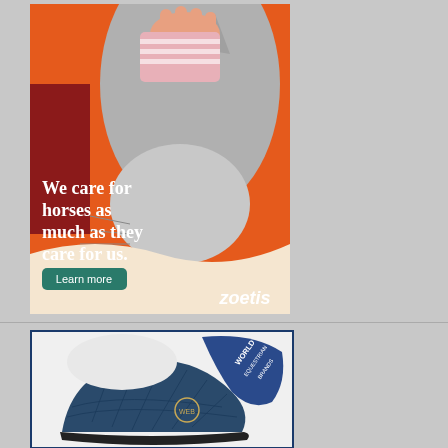[Figure (illustration): Zoetis advertisement showing a child's hand touching a grey horse's face. Orange background with white wave at bottom. Text reads 'We care for horses as much as they care for us.' with a 'Learn more' button and Zoetis logo.]
[Figure (photo): World Equestrian Brands advertisement showing a dark blue quilted saddle pad with a circular logo on the side and the World Equestrian Brands tag visible.]